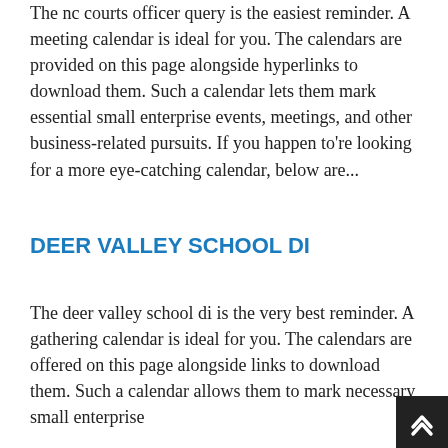The nc courts officer query is the easiest reminder. A meeting calendar is ideal for you. The calendars are provided on this page alongside hyperlinks to download them. Such a calendar lets them mark essential small enterprise events, meetings, and other business-related pursuits. If you happen to're looking for a more eye-catching calendar, below are...
DEER VALLEY SCHOOL DI
The deer valley school di is the very best reminder. A gathering calendar is ideal for you. The calendars are offered on this page alongside links to download them. Such a calendar allows them to mark necessary small enterprise